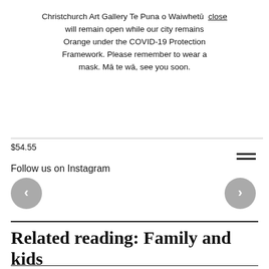Christchurch Art Gallery Te Puna o Waiwhetū  close
will remain open while our city remains Orange under the COVID-19 Protection Framework. Please remember to wear a mask. Mā te wā, see you soon.
$54.55
Follow us on Instagram
Related reading: Family and kids
Collection